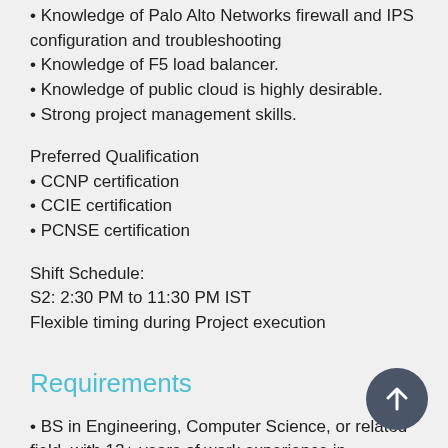• Knowledge of Palo Alto Networks firewall and IPS configuration and troubleshooting
• Knowledge of F5 load balancer.
• Knowledge of public cloud is highly desirable.
• Strong project management skills.
Preferred Qualification
• CCNP certification
• CCIE certification
• PCNSE certification
Shift Schedule:
S2: 2:30 PM to 11:30 PM IST
Flexible timing during Project execution
Requirements
• BS in Engineering, Computer Science, or related field, with 12+ years of work experience in networking domain
• Have completed minimum 3 significant network solution designs.
• In-depth knowledge of the OSI network model
• Experience with different network types (i.e. LAN, WAN,